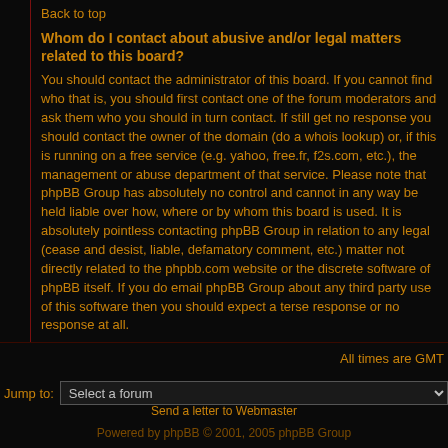Back to top
Whom do I contact about abusive and/or legal matters related to this board?
You should contact the administrator of this board. If you cannot find who that is, you should first contact one of the forum moderators and ask them who you should in turn contact. If still get no response you should contact the owner of the domain (do a whois lookup) or, if this is running on a free service (e.g. yahoo, free.fr, f2s.com, etc.), the management or abuse department of that service. Please note that phpBB Group has absolutely no control and cannot in any way be held liable over how, where or by whom this board is used. It is absolutely pointless contacting phpBB Group in relation to any legal (cease and desist, liable, defamatory comment, etc.) matter not directly related to the phpbb.com website or the discrete software of phpBB itself. If you do email phpBB Group about any third party use of this software then you should expect a terse response or no response at all.
Back to top
All times are GMT
Jump to:  Select a forum
Send a letter to Webmaster
Powered by phpBB © 2001, 2005 phpBB Group